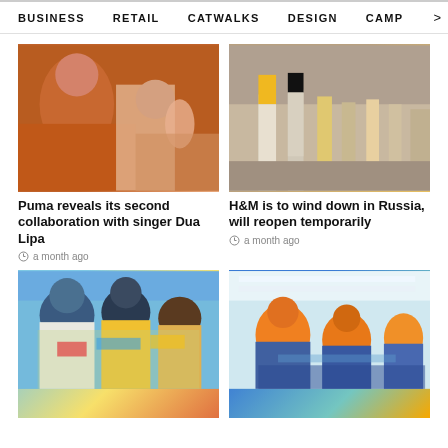BUSINESS   RETAIL   CATWALKS   DESIGN   CAMP >
[Figure (photo): Fashion campaign photo: woman in orange outfit with other models in orange/striped clothing]
[Figure (photo): H&M store interior with mannequins dressed in yellow and black outfits on a display platform]
Puma reveals its second collaboration with singer Dua Lipa
a month ago
H&M is to wind down in Russia, will reopen temporarily
a month ago
[Figure (photo): Three women posing in front of colorful graffiti wall, wearing casual summer outfits]
[Figure (photo): Factory workers in orange caps working at sewing machines in a manufacturing facility]